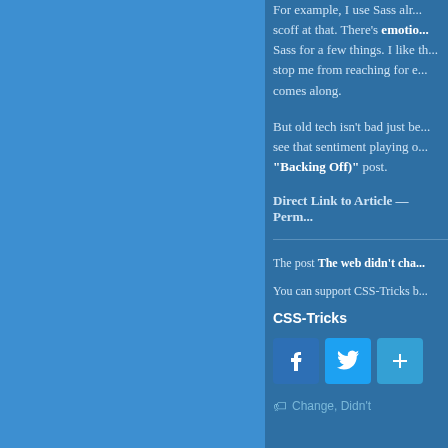For example, I use Sass alr... scoff at that. There's emotion... Sass for a few things. I like th... stop me from reaching for e... comes along.
But old tech isn't bad just be... see that sentiment playing o... "Backing Off)" post.
Direct Link to Article — Perm...
The post The web didn't cha...
You can support CSS-Tricks b...
CSS-Tricks
[Figure (infographic): Three social sharing buttons: Facebook (f), Twitter (bird), and a plus (+) button]
Change, Didn't